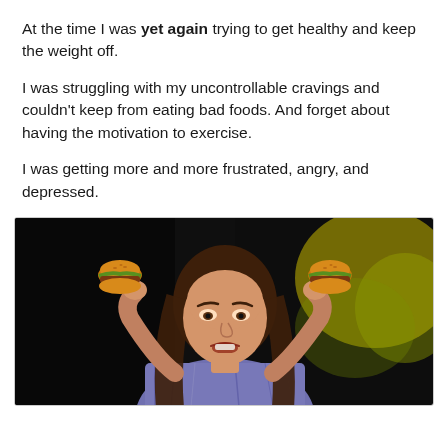At the time I was yet again trying to get healthy and keep the weight off.
I was struggling with my uncontrollable cravings and couldn't keep from eating bad foods. And forget about having the motivation to exercise.
I was getting more and more frustrated, angry, and depressed.
[Figure (photo): A frustrated young woman with long brown hair holding two small burgers up to her ears like headphones, making a grimacing expression. She wears a plaid shirt. Background is dark with yellow/green blurry colors.]